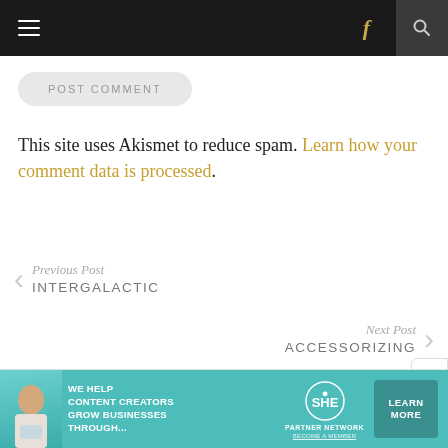Navigation bar with menu, Facebook link, and search
POST COMMENT
This site uses Akismet to reduce spam. Learn how your comment data is processed.
Previous Post
INTERGALACTIC
Next Post
ACCESSORIZING
[Figure (infographic): SHE Media Partner Network advertisement banner with teal background, woman with laptop, logo and Learn More button]